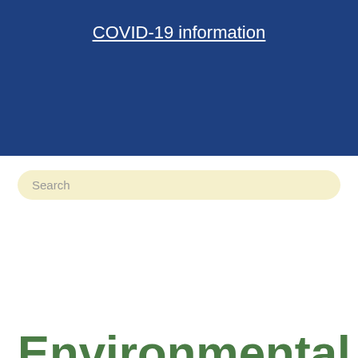COVID-19 information
[Figure (screenshot): Search bar with placeholder text 'Search' on a light yellow background with rounded corners]
Environmental